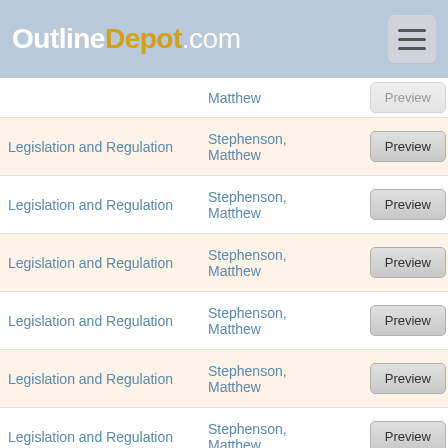OutlineDepot.com
| Category | Author | Action |
| --- | --- | --- |
| Legislation and Regulation | Matthew | Preview |
| Legislation and Regulation | Stephenson, Matthew | Preview |
| Legislation and Regulation | Stephenson, Matthew | Preview |
| Legislation and Regulation | Stephenson, Matthew | Preview |
| Legislation and Regulation | Stephenson, Matthew | Preview |
| Legislation and Regulation | Stephenson, Matthew | Preview |
| Legislation and Regulation | Stephenson, Matthew | Preview |
| Legislation and Regulation | Stephenson, Matthew | Preview |
| Legislation and Regulation | Sunstein, Cass | Preview |